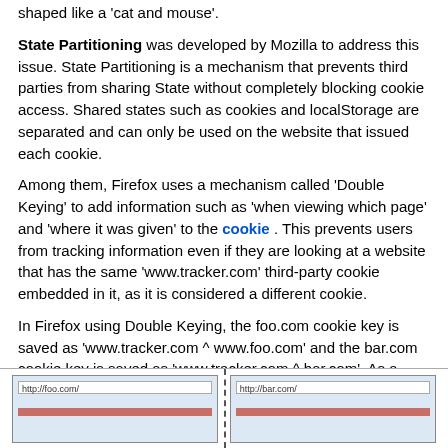shaped like a 'cat and mouse'.
State Partitioning was developed by Mozilla to address this issue. State Partitioning is a mechanism that prevents third parties from sharing State without completely blocking cookie access. Shared states such as cookies and localStorage are separated and can only be used on the website that issued each cookie.
Among them, Firefox uses a mechanism called 'Double Keying' to add information such as 'when viewing which page' and 'where it was given' to the cookie. This prevents users from tracking information even if they are looking at a website that has the same 'www.tracker.com' third-party cookie embedded in it, as it is considered a different cookie.
In Firefox using Double Keying, the foo.com cookie key is saved as 'www.tracker.com ^ www.foo.com' and the bar.com cookie key is saved as 'www.tracker.com ^ bar.com'. As a result, the function as a tracker for identifying individuals will be lost from third-party cookies.
[Figure (screenshot): Diagram showing two browser windows side by side separated by a dashed vertical line. Left browser shows http://foo.com/ in the URL bar with a blue content area and red bar. Right browser shows http://bar.com/ in the URL bar with a blue content area and red bar.]